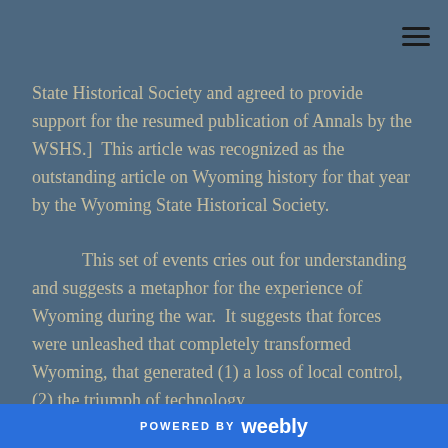State Historical Society and agreed to provide support for the resumed publication of Annals by the WSHS.]  This article was recognized as the outstanding article on Wyoming history for that year by the Wyoming State Historical Society.
This set of events cries out for understanding and suggests a metaphor for the experience of Wyoming during the war.  It suggests that forces were unleashed that completely transformed Wyoming, that generated (1) a loss of local control, (2) the triumph of technology,
POWERED BY weebly